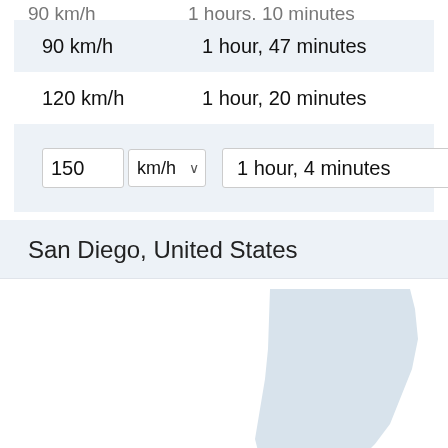| Speed | Travel Time |
| --- | --- |
| 90 km/h | 1 hour, 47 minutes |
| 120 km/h | 1 hour, 20 minutes |
| 150 km/h | 1 hour, 4 minutes |
San Diego, United States
[Figure (map): Partial map showing San Diego location in the southwestern United States, with a red dot indicating the city.]